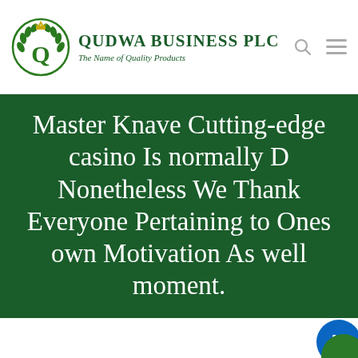[Figure (logo): Qudwa Business PLC logo with circular laurel wreath emblem and crown, green color, with tagline 'The Name of Quality Products']
Master Knave Cutting-edge casino Is normally D Nonetheless We Thank Everyone Pertaining to Ones own Motivation As well moment.
[Figure (logo): LinkedIn circular blue social media icon partially visible at bottom right]